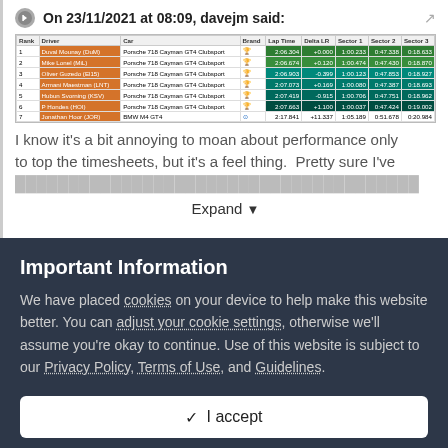On 23/11/2021 at 08:09, davejm said:
| Rank | Driver | Car | Brand | Lap Time | Delta LR | Sector 1 | Sector 2 | Sector 3 |
| --- | --- | --- | --- | --- | --- | --- | --- | --- |
| 1 | Duval Mounay (DuM) | Porsche 718 Cayman GT4 Clubsport |  | 2:06.304 | +0.000 | 1:00.233 | 0:47.338 | 0:18.633 |
| 2 | Mike Lonel (MiL) | Porsche 718 Cayman GT4 Clubsport |  | 2:06.674 | +0.120 | 1:00.474 | 0:47.430 | 0:18.870 |
| 3 | Oliver Guzedo (El15) | Porsche 718 Cayman GT4 Clubsport |  | 2:06.903 | -0.399 | 1:00.123 | 0:47.853 | 0:18.927 |
| 4 | Armani Maestman (LNT) | Porsche 718 Cayman GT4 Clubsport |  | 2:07.073 | +0.169 | 1:00.080 | 0:47.387 | 0:18.693 |
| 5 | Hubun Svorning (KSV) | Porsche 718 Cayman GT4 Clubsport |  | 2:07.419 | -0.915 | 1:00.706 | 0:47.751 | 0:18.962 |
| 6 | P Hondes (HOI) | Porsche 718 Cayman GT4 Clubsport |  | 2:07.663 | +1.100 | 1:00.037 | 0:47.424 | 0:19.002 |
| 7 | Jonathan Hoor (JOR) | BMW M4 GT4 |  | 2:17.841 | +11.337 | 1:05.189 | 0:51.678 | 0:20.984 |
I know it's a bit annoying to moan about performance only to top the timesheets, but it's a feel thing.  Pretty sure I've
Expand
Important Information
We have placed cookies on your device to help make this website better. You can adjust your cookie settings, otherwise we'll assume you're okay to continue. Use of this website is subject to our Privacy Policy, Terms of Use, and Guidelines.
✓ I accept